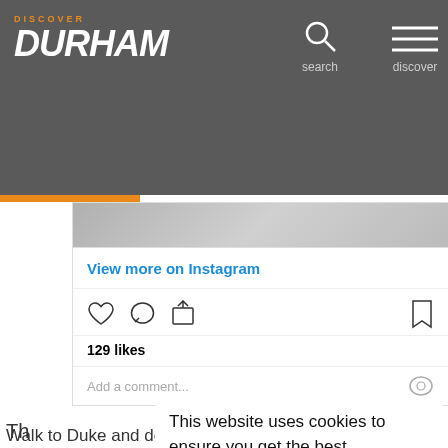[Figure (screenshot): Discover Durham website header with logo, search icon, and discover/menu icon on dark grey background]
View more on Instagram
[Figure (other): Instagram action icons: heart (like), comment bubble, share arrow on left; bookmark on right]
129 likes
Add a comment
Th
Ho
co
pl
In
This website uses cookies to ensure you get the best experience on our website.
Learn more
Got it!
Walk to Duke and downtown attractions, and it